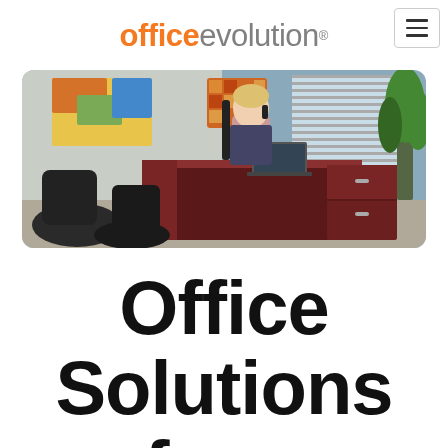[Figure (logo): Office Evolution logo with 'office' in orange bold and 'evolution' in gray light weight, followed by a registered trademark symbol]
[Figure (photo): Professional office setting showing a woman sitting at a large dark wood executive desk, talking on a phone, with a laptop open in front of her. Behind her is a colorful abstract painting on the wall and a window with blinds. To the right is a dark wood filing cabinet and a tall plant. Two black office chairs are in the foreground.]
Office Solutions for a